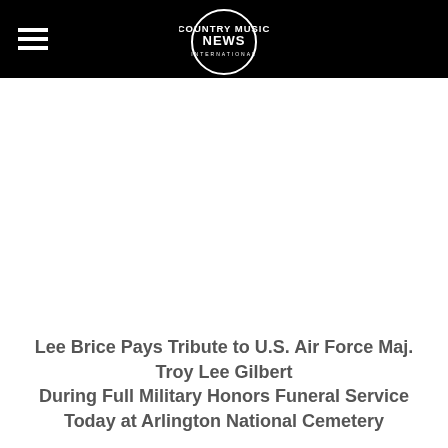COUNTRY MUSIC NEWS INTERNATIONAL
Lee Brice Pays Tribute to U.S. Air Force Maj. Troy Lee Gilbert During Full Military Honors Funeral Service Today at Arlington National Cemetery